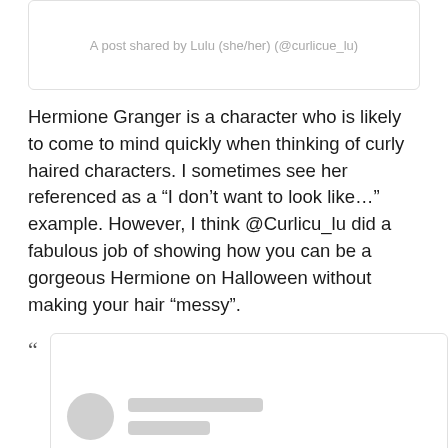A post shared by Lulu (she/her) (@curlicue_lu)
Hermione Granger is a character who is likely to come to mind quickly when thinking of curly haired characters. I sometimes see her referenced as a “I don’t want to look like…” example. However, I think @Curlicu_lu did a fabulous job of showing how you can be a gorgeous Hermione on Halloween without making your hair “messy”.
[Figure (screenshot): Social media post embed placeholder with profile picture circle and two gray loading bars]